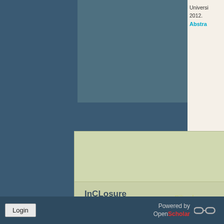University 2012.
Abstra...
InCLosure
InCLosure Version 1.0
InCLosure Version 2.0
InCLosure Version 3.0
Filter by
Public
alen...
Login   Powered by OpenScholar